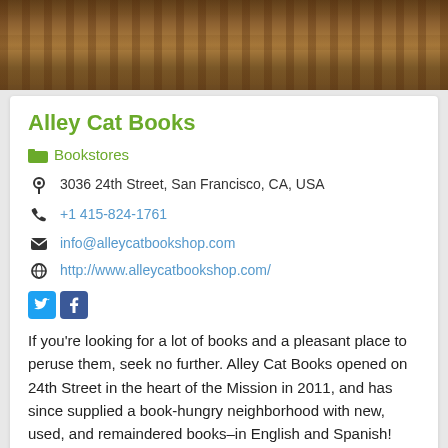[Figure (photo): Interior photo of a bookstore with shelves of books visible]
Alley Cat Books
Bookstores
3036 24th Street, San Francisco, CA, USA
+1 415-824-1761
info@alleycatbookshop.com
http://www.alleycatbookshop.com/
If you're looking for a lot of books and a pleasant place to peruse them, seek no further. Alley Cat Books opened on 24th Street in the heart of the Mission in 2011, and has since supplied a book-hungry neighborhood with new, used, and remaindered books–in English and Spanish!
[Figure (photo): Partial photo at bottom of page, appears to show outdoor greenery]